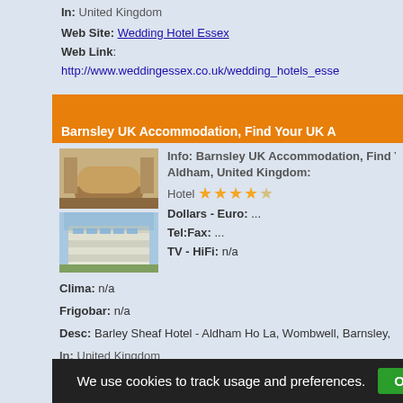In: United Kingdom
Web Site: Wedding Hotel Essex
Web Link: http://www.weddingessex.co.uk/wedding_hotels_esse
Barnsley UK Accommodation, Find Your UK A
Info: Barnsley UK Accommodation, Find Yo... Aldham, United Kingdom:
Hotel ★★★★☆
Dollars - Euro: ...
Tel:Fax: ...
TV - HiFi: n/a
Clima: n/a
Frigobar: n/a
Desc: Barley Sheaf Hotel - Aldham Ho La, Wombwell, Barnsley,
In: United Kingdom
Web Site: Barnsley UK Accommodation, Find Your UK Accomm
We use cookies to track usage and preferences.